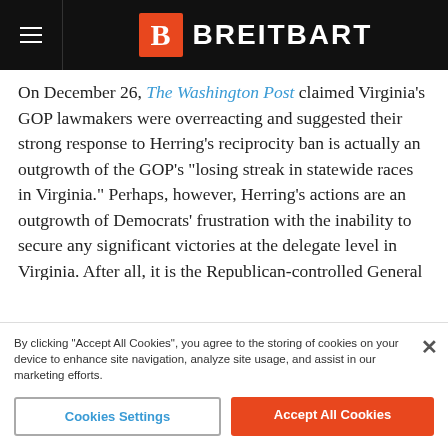BREITBART
On December 26, The Washington Post claimed Virginia’s GOP lawmakers were overreacting and suggested their strong response to Herring’s reciprocity ban is actually an outgrowth of the GOP’s “losing streak in statewide races in Virginia.” Perhaps, however, Herring’s actions are an outgrowth of Democrats’ frustration with the inability to secure any significant victories at the delegate level in Virginia. After all, it is the Republican-controlled General Assembly that has consistently opposed McAuliffe’s–and now Herring’s–gun control efforts.
Follow AWR Hawkins on Twitter: @AWRHawkins. Reach him directly at awrhawkins@breitbart.com.
By clicking “Accept All Cookies”, you agree to the storing of cookies on your device to enhance site navigation, analyze site usage, and assist in our marketing efforts.